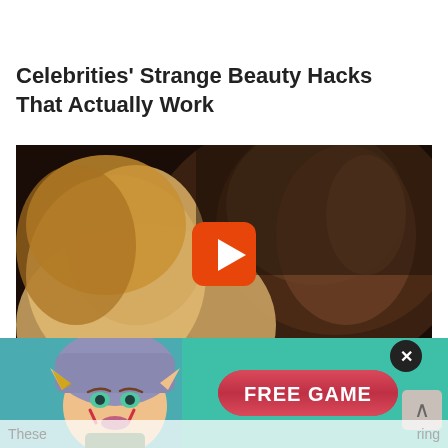Celebrities' Strange Beauty Hacks That Actually Work
[Figure (photo): Video thumbnail showing two people in close proximity with a YouTube-style orange play button overlay in the center]
[Figure (screenshot): Popup advertisement overlay with a teal/green background featuring an elf-character from a mobile game on the left and a red pill-shaped 'FREE GAME' button on the right, with a close (X) button and a scroll-up arrow button]